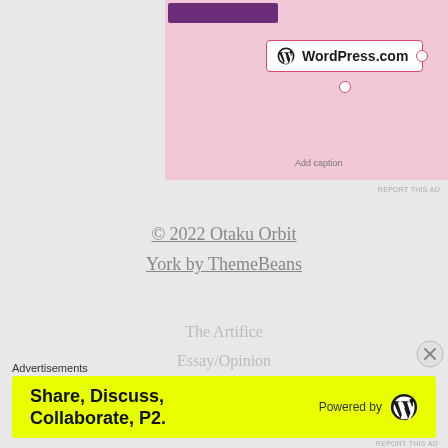[Figure (screenshot): Pink background area with a purple button at top and a WordPress.com widget with border, plus 'Add caption' text below it]
REPORT THIS AD
© 2022 Otaku Orbit
York by ThemeBeans
The Artifice
Essay/Opinion
Challenges
Lists
Advertisements
[Figure (screenshot): Yellow advertisement banner: Share, Discuss, Collaborate, P2. Powered by WordPress logo]
REPORT THIS AD